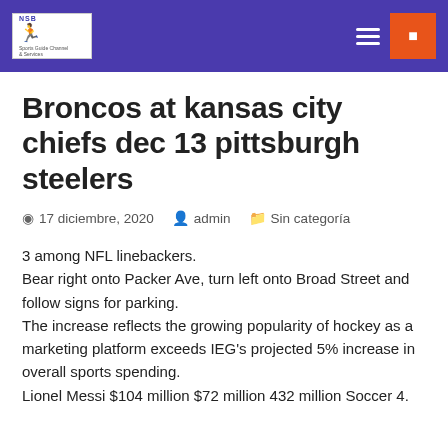NSB | admin | Sin categoría
Broncos at kansas city chiefs dec 13 pittsburgh steelers
17 diciembre, 2020  admin  Sin categoría
3 among NFL linebackers.
Bear right onto Packer Ave, turn left onto Broad Street and follow signs for parking.
The increase reflects the growing popularity of hockey as a marketing platform exceeds IEG's projected 5% increase in overall sports spending.
Lionel Messi $104 million $72 million 432 million Soccer 4.